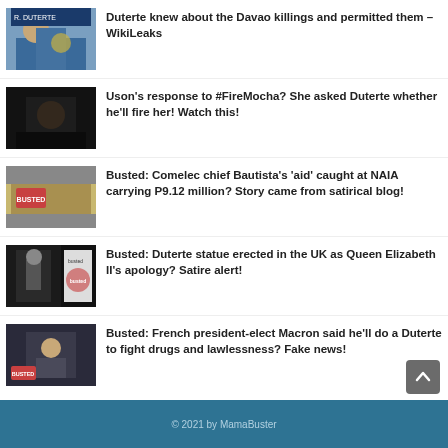[Figure (photo): Thumbnail of Duterte at a podium with Philippine seal]
Duterte knew about the Davao killings and permitted them – WikiLeaks
[Figure (photo): Dark thumbnail of people, Uson story]
Uson's response to #FireMocha? She asked Duterte whether he'll fire her! Watch this!
[Figure (photo): Busted stamp over cash/boxes image]
Busted: Comelec chief Bautista's 'aid' caught at NAIA carrying P9.12 million? Story came from satirical blog!
[Figure (photo): Busted stamp over statue/UK image]
Busted: Duterte statue erected in the UK as Queen Elizabeth II's apology? Satire alert!
[Figure (photo): Busted stamp over Macron image]
Busted: French president-elect Macron said he'll do a Duterte to fight drugs and lawlessness? Fake news!
© 2021 by MamaBuster